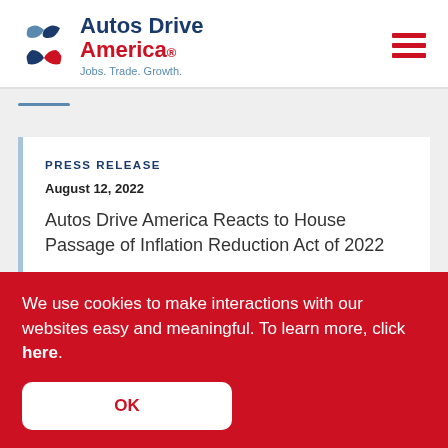Autos Drive America. Jobs. Trade. Growth.
PRESS RELEASE
August 12, 2022
Autos Drive America Reacts to House Passage of Inflation Reduction Act of 2022
We use cookies to make interactions with our websites easy and meaningful.  To learn more, click here.